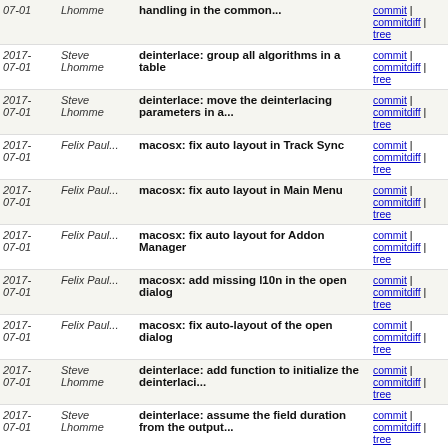| Date | Author | Message | Links |
| --- | --- | --- | --- |
| 2017-07-01 | Steve Lhomme | handling in the common... | commit | commitdiff | tree |
| 2017-07-01 | Steve Lhomme | deinterlace: group all algorithms in a table | commit | commitdiff | tree |
| 2017-07-01 | Steve Lhomme | deinterlace: move the deinterlacing parameters in a... | commit | commitdiff | tree |
| 2017-07-01 | Felix Paul... | macosx: fix auto layout in Track Sync | commit | commitdiff | tree |
| 2017-07-01 | Felix Paul... | macosx: fix auto layout in Main Menu | commit | commitdiff | tree |
| 2017-07-01 | Felix Paul... | macosx: fix auto layout for Addon Manager | commit | commitdiff | tree |
| 2017-07-01 | Felix Paul... | macosx: add missing l10n in the open dialog | commit | commitdiff | tree |
| 2017-07-01 | Felix Paul... | macosx: fix auto-layout of the open dialog | commit | commitdiff | tree |
| 2017-07-01 | Steve Lhomme | deinterlace: add function to initialize the deinterlaci... | commit | commitdiff | tree |
| 2017-07-01 | Steve Lhomme | deinterlace: assume the field duration from the output... | commit | commitdiff | tree |
| 2017-07-01 | Steve Lhomme | deinterlace: move some structures in common.h | commit | commitdiff | tree |
| 2017-07-01 | Steve Lhomme | deinterlace: use a callback to call do the rendering... | commit | commitdiff | tree |
| 2017-07-01 | Steve Lhomme | deinterlace: normalize render callback signatures | commit | commitdiff | tree |
| 2017-07-01 | Steve Lhomme | deinterlace: remove useless fallback values | commit | commitdiff | tree |